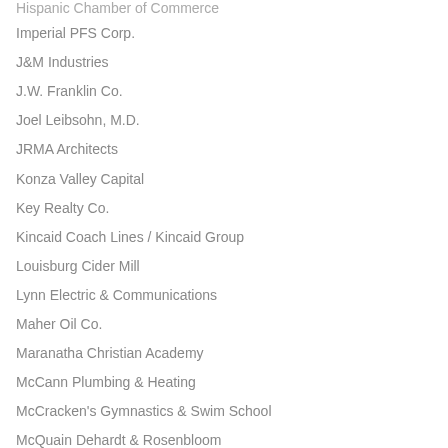Hispanic Chamber of Commerce
Imperial PFS Corp.
J&M Industries
J.W. Franklin Co.
Joel Leibsohn, M.D.
JRMA Architects
Konza Valley Capital
Key Realty Co.
Kincaid Coach Lines / Kincaid Group
Louisburg Cider Mill
Lynn Electric & Communications
Maher Oil Co.
Maranatha Christian Academy
McCann Plumbing & Heating
McCracken's Gymnastics & Swim School
McQuain Dehardt & Rosenbloom
Meyer, Welch, D...